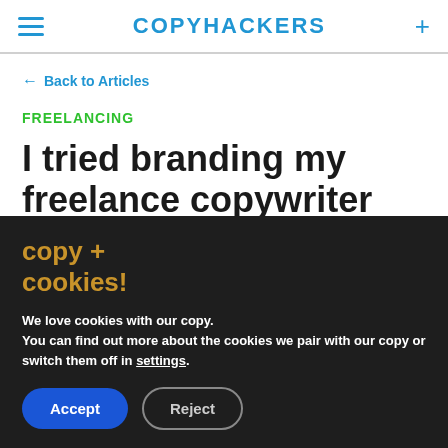COPYHACKERS
← Back to Articles
FREELANCING
I tried branding my freelance copywriter
copy + cookies!
We love cookies with our copy. You can find out more about the cookies we pair with our copy or switch them off in settings.
Accept  Reject